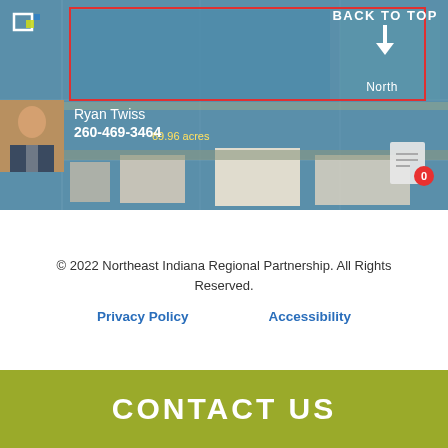[Figure (photo): Aerial satellite view of industrial/commercial land parcel labeled 69.96 acres with red boundary outline. Shows buildings, roads, and surrounding area. Agent Ryan Twiss with photo and phone 260-469-3464 overlaid. Back To Top button and document icon visible. North arrow indicator.]
© 2022 Northeast Indiana Regional Partnership. All Rights Reserved.
Privacy Policy    Accessibility
CONTACT US